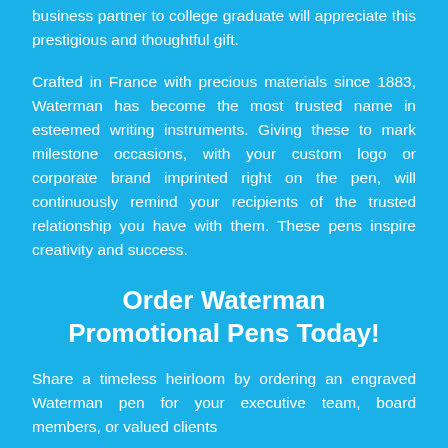business partner to college graduate will appreciate this prestigious and thoughtful gift.
Crafted in France with precious materials since 1883, Waterman has become the most trusted name in esteemed writing instruments. Giving these to mark milestone occasions, with your custom logo or corporate brand imprinted right on the pen, will continuously remind your recipients of the trusted relationship you have with them. These pens inspire creativity and success.
Order Waterman Promotional Pens Today!
Share a timeless heirloom by ordering an engraved Waterman pen for your executive team, board members, or valued clients